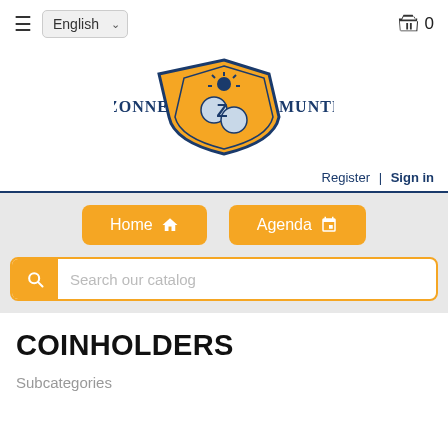≡  English ▾    🛒 0
[Figure (logo): Zonnemunten logo: orange shield with coins and sun, text ZONNE MUNTEN in dark blue]
Register | Sign in
Home  Agenda
Search our catalog
COINHOLDERS
Subcategories